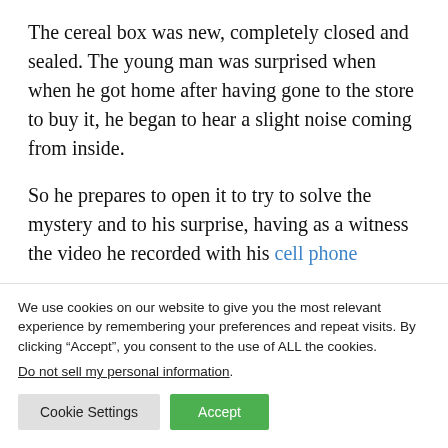The cereal box was new, completely closed and sealed. The young man was surprised when when he got home after having gone to the store to buy it, he began to hear a slight noise coming from inside.
So he prepares to open it to try to solve the mystery and to his surprise, having as a witness the video he recorded with his cell phone
We use cookies on our website to give you the most relevant experience by remembering your preferences and repeat visits. By clicking “Accept”, you consent to the use of ALL the cookies.
Do not sell my personal information.